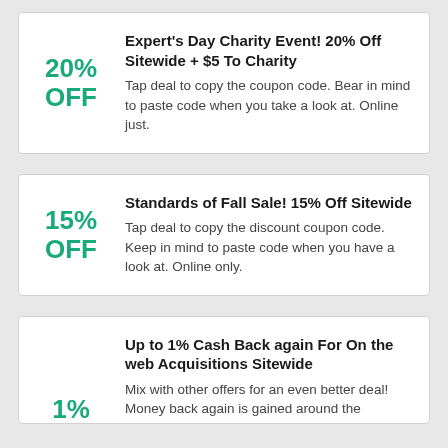Expert's Day Charity Event! 20% Off Sitewide + $5 To Charity
Tap deal to copy the coupon code. Bear in mind to paste code when you take a look at. Online just.
Standards of Fall Sale! 15% Off Sitewide
Tap deal to copy the discount coupon code. Keep in mind to paste code when you have a look at. Online only.
Up to 1% Cash Back again For On the web Acquisitions Sitewide
Mix with other offers for an even better deal! Money back again is gained around the